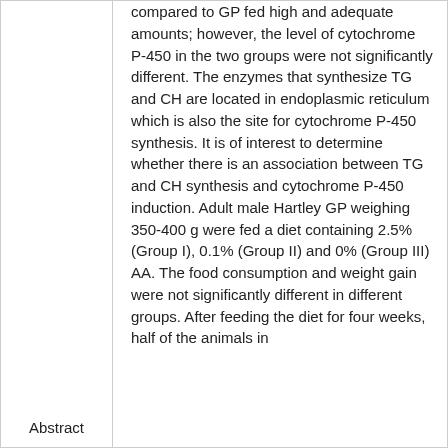compared to GP fed high and adequate amounts; however, the level of cytochrome P-450 in the two groups were not significantly different. The enzymes that synthesize TG and CH are located in endoplasmic reticulum which is also the site for cytochrome P-450 synthesis. It is of interest to determine whether there is an association between TG and CH synthesis and cytochrome P-450 induction. Adult male Hartley GP weighing 350-400 g were fed a diet containing 2.5% (Group I), 0.1% (Group II) and 0% (Group III) AA. The food consumption and weight gain were not significantly different in different groups. After feeding the diet for four weeks, half of the animals in
Abstract